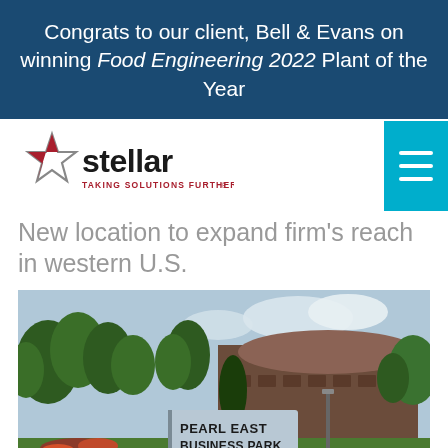Congrats to our client, Bell & Evans on winning Food Engineering 2022 Plant of the Year
[Figure (logo): Stellar logo with star icon and tagline 'TAKING SOLUTIONS FURTHER']
New location to expand firm's reach in western U.S.
[Figure (photo): Exterior photo of Pearl East Business Park building with trees and landscaping in foreground]